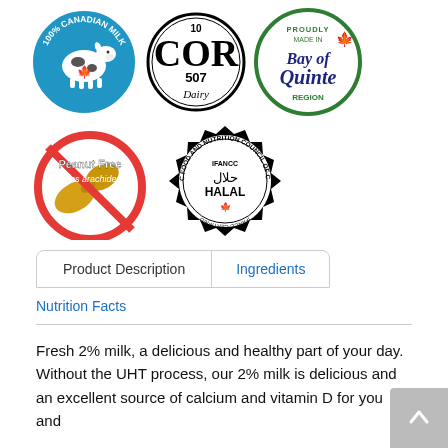[Figure (logo): 100% Canadian Milk logo - blue circle with cow and maple leaf]
[Figure (logo): COR 507 Dairy certification logo - black circular stamp]
[Figure (logo): Proudly Made in Bay of Quinte Region - green circle logo]
[Figure (logo): Peanut Free / Sans arachides - red circle with crossed-out peanut]
[Figure (logo): IFANCC Halal certification logo - black stamp with maple leaf]
Product Description
Ingredients
Nutrition Facts
Fresh 2% milk, a delicious and healthy part of your day. Without the UHT process, our 2% milk is delicious and an excellent source of calcium and vitamin D for you and